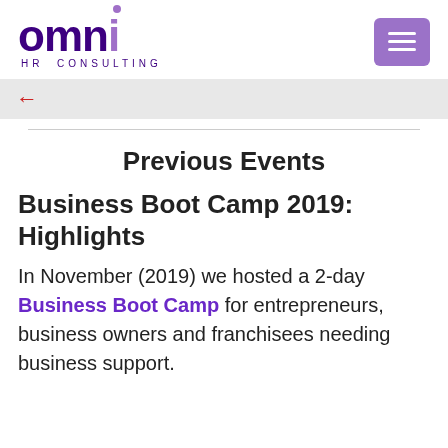[Figure (logo): Omni HR Consulting logo — 'omni' in large dark purple bold letters with a purple dot over the 'i', and 'HR CONSULTING' in small spaced purple capitals below]
[Figure (other): Purple hamburger menu button with three white horizontal lines]
[Figure (other): Gray navigation bar with a red back arrow icon]
Previous Events
Business Boot Camp 2019: Highlights
In November (2019) we hosted a 2-day Business Boot Camp for entrepreneurs, business owners and franchisees needing business support.